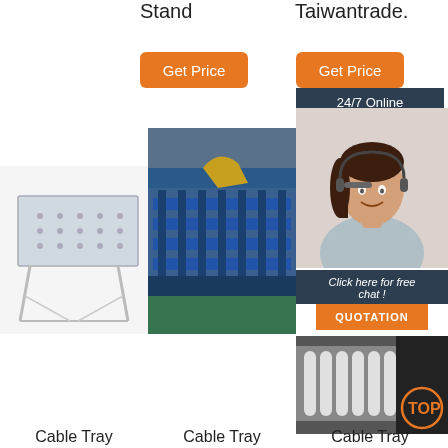Stand
Taiwantrade.
Get Price
Get Price
24/7 Online
[Figure (photo): Customer service representative wearing headset, smiling]
Click here for free chat !
QUOTATION
[Figure (photo): Cable tray product photo - metal perforated tray on stand legs]
[Figure (photo): Cable tray roll forming machine in factory, blue industrial equipment]
[Figure (photo): Cable tray product close-up with TOP logo]
Cable Tray
Cable Tray
Cable Tray